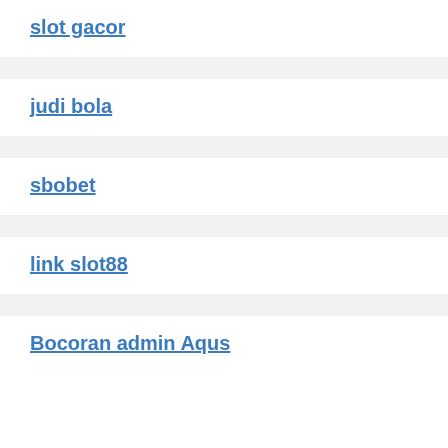slot gacor
judi bola
sbobet
link slot88
Bocoran admin Aqus